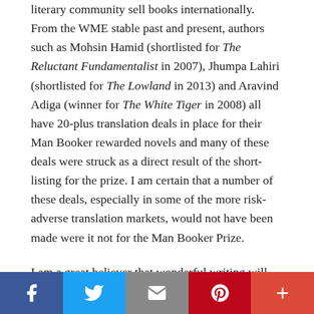literary community sell books internationally. From the WME stable past and present, authors such as Mohsin Hamid (shortlisted for The Reluctant Fundamentalist in 2007), Jhumpa Lahiri (shortlisted for The Lowland in 2013) and Aravind Adiga (winner for The White Tiger in 2008) all have 20-plus translation deals in place for their Man Booker rewarded novels and many of these deals were struck as a direct result of the short-listing for the prize. I am certain that a number of these deals, especially in some of the more risk-adverse translation markets, would not have been made were it not for the Man Booker Prize.
I am a great believer that wonderful writing will ultimately find the right publisher at home and abroad, but with some quarter of a million books published in the UK alone
[Figure (other): Social sharing bar with Facebook, Twitter, Email, Pinterest, and More (+) buttons]